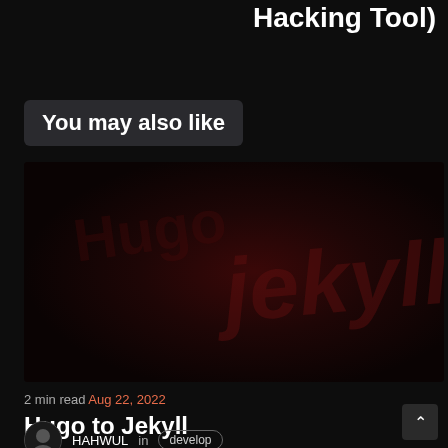Hacking Tool)
You may also like
[Figure (illustration): Dark reddish decorative card image with faint Jekyll-themed background]
2 min read Aug 22, 2022
Hugo to Jekyll
HAHWUL in develop